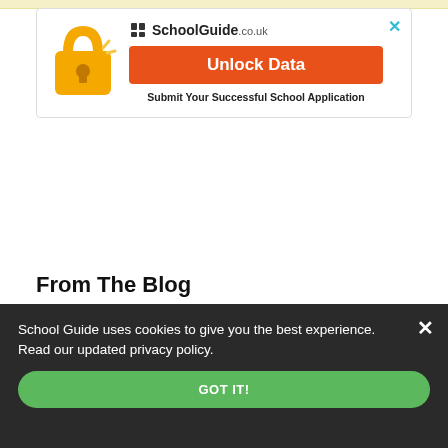[Figure (screenshot): Top bar with light yellow background stripe]
[Figure (infographic): Unlock Data promotional box featuring a golden padlock icon, SchoolGuide.co.uk branding, orange Unlock Data button, and text 'Submit Your Successful School Application']
From The Blog
[Figure (screenshot): Blog card with teal banner reading 'Loved by...' in cursive script]
School Guide uses cookies to give you the best experience. Read our updated privacy policy.
GOT IT!